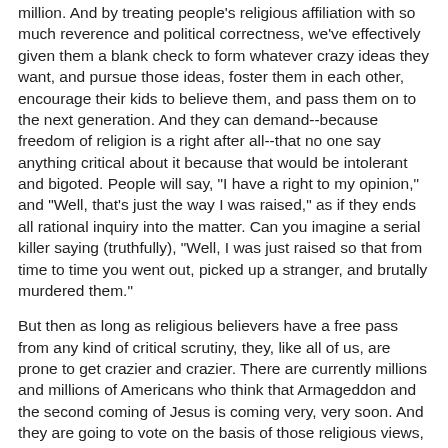million. And by treating people's religious affiliation with so much reverence and political correctness, we've effectively given them a blank check to form whatever crazy ideas they want, and pursue those ideas, foster them in each other, encourage their kids to believe them, and pass them on to the next generation. And they can demand--because freedom of religion is a right after all--that no one say anything critical about it because that would be intolerant and bigoted. People will say, "I have a right to my opinion," and "Well, that's just the way I was raised," as if they ends all rational inquiry into the matter. Can you imagine a serial killer saying (truthfully), "Well, I was just raised so that from time to time you went out, picked up a stranger, and brutally murdered them."
But then as long as religious believers have a free pass from any kind of critical scrutiny, they, like all of us, are prone to get crazier and crazier. There are currently millions and millions of Americans who think that Armageddon and the second coming of Jesus is coming very, very soon. And they are going to vote on the basis of those religious views, they are going to get on the school board, they are going to teach in the classroom, they are going to make moral decisions...